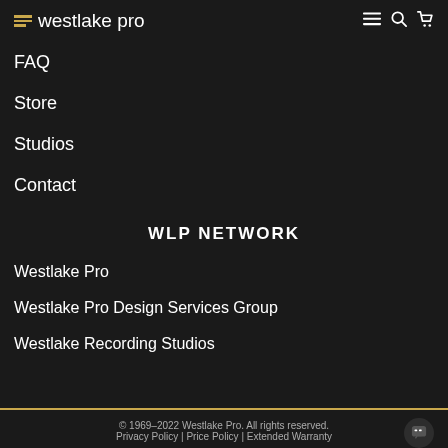westlake pro
FAQ
Store
Studios
Contact
WLP NETWORK
Westlake Pro
Westlake Pro Design Services Group
Westlake Recording Studios
© 1969–2022 Westlake Pro. All rights reserved.
Privacy Policy | Price Policy | Extended Warranty